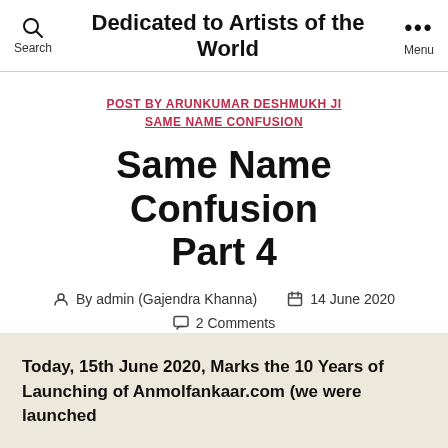Search  Dedicated to Artists of the World  Menu
POST BY ARUNKUMAR DESHMUKH JI
SAME NAME CONFUSION
Same Name Confusion Part 4
By admin (Gajendra Khanna)  14 June 2020  2 Comments
Today, 15th June 2020, Marks the 10 Years of Launching of Anmolfankaar.com (we were launched